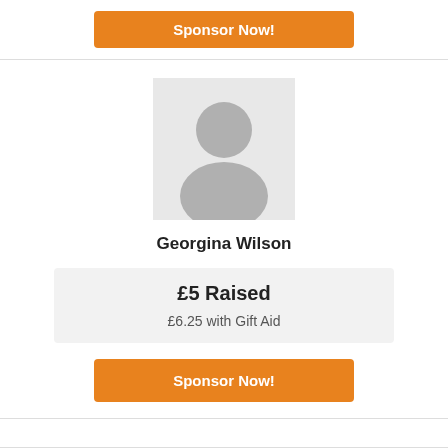Sponsor Now!
[Figure (illustration): Default user avatar placeholder: grey square background with a grey silhouette of a person (circle head, rounded torso/shoulders)]
Georgina Wilson
£5 Raised
£6.25 with Gift Aid
Sponsor Now!